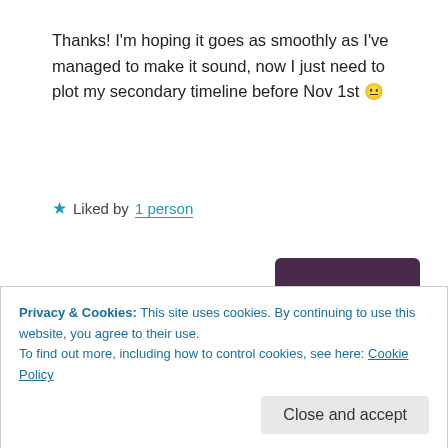Thanks! I'm hoping it goes as smoothly as I've managed to make it sound, now I just need to plot my secondary timeline before Nov 1st 😐
★ Liked by 1 person
Reply
miladuranel
Privacy & Cookies: This site uses cookies. By continuing to use this website, you agree to their use.
To find out more, including how to control cookies, see here: Cookie Policy
Close and accept